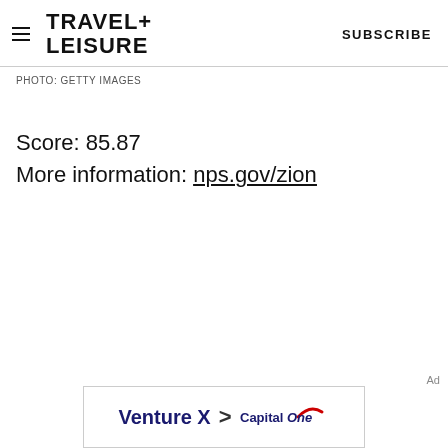TRAVEL+ LEISURE   SUBSCRIBE
PHOTO: GETTY IMAGES
Score: 85.87
More information: nps.gov/zion
Ad
[Figure (other): Capital One Venture X advertisement banner with text 'Venture X > CapitalOne']